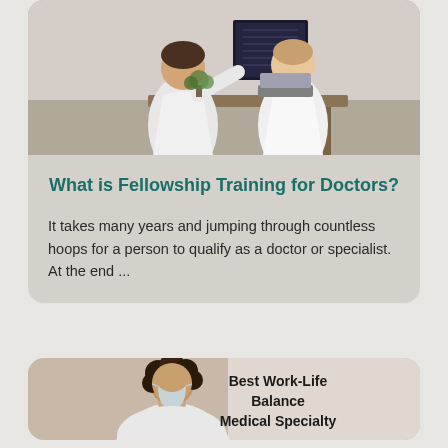[Figure (photo): Two doctors in white coats examining X-ray images at a desk]
What is Fellowship Training for Doctors?
It takes many years and jumping through countless hoops for a person to qualify as a doctor or specialist. At the end ...
[Figure (photo): Female doctor wearing a face mask with text overlay reading Best Work-Life Balance Medical Specialty]